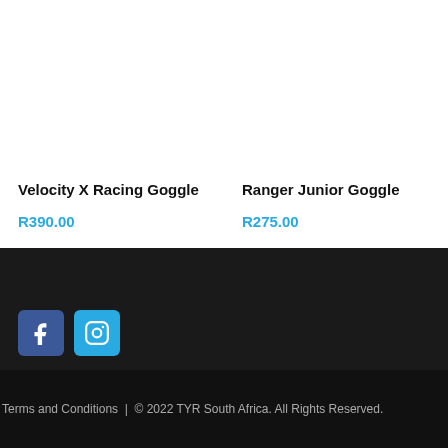Velocity X Racing Goggle
R390.00
Ranger Junior Goggle
R275.00
[Figure (other): Social media icons: Facebook (blue square with 'f') and Instagram (light blue square with camera icon)]
Terms and Conditions | © 2022 TYR South Africa. All Rights Reserved.